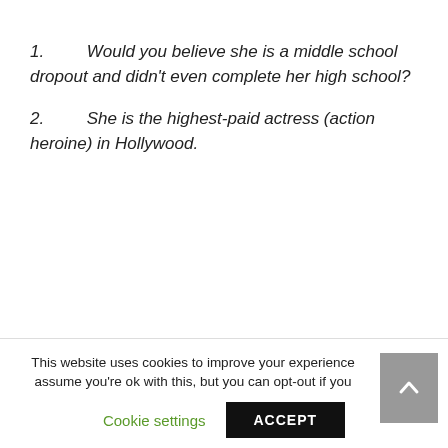1.   Would you believe she is a middle school dropout and didn't even complete her high school?
2.   She is the highest-paid actress (action heroine) in Hollywood.
This website uses cookies to improve your experience assume you're ok with this, but you can opt-out if you